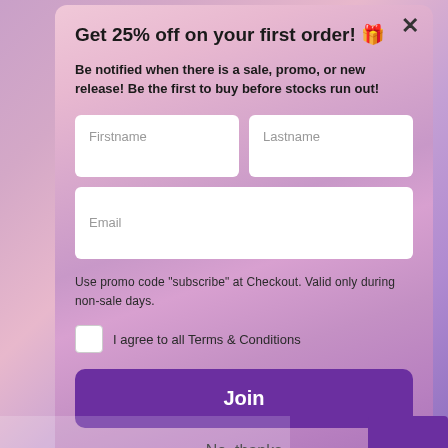Get 25% off on your first order! 🎁
Be notified when there is a sale, promo, or new release! Be the first to buy before stocks run out!
Use promo code "subscribe" at Checkout. Valid only during non-sale days.
I agree to all Terms & Conditions
Join
No, thanks